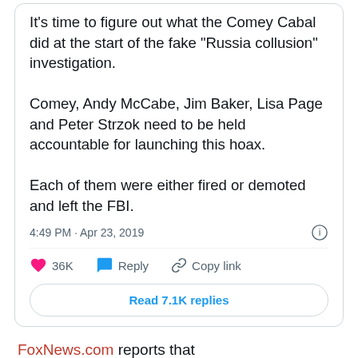It's time to figure out what the Comey Cabal did at the start of the fake “Russia collusion” investigation.

Comey, Andy McCabe, Jim Baker, Lisa Page and Peter Strzok need to be held accountable for launching this hoax.

Each of them were either fired or demoted and left the FBI.
4:49 PM · Apr 23, 2019
36K   Reply   Copy link
Read 7.1K replies
FoxNews.com reports that